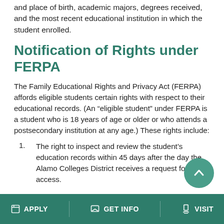and place of birth, academic majors, degrees received, and the most recent educational institution in which the student enrolled.
Notification of Rights under FERPA
The Family Educational Rights and Privacy Act (FERPA) affords eligible students certain rights with respect to their educational records. (An “eligible student” under FERPA is a student who is 18 years of age or older or who attends a postsecondary institution at any age.) These rights include:
The right to inspect and review the student’s education records within 45 days after the day the Alamo Colleges District receives a request for access.
APPLY   GET INFO   VISIT